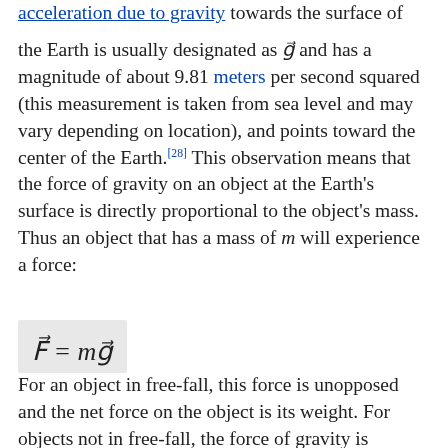object. Today, this acceleration due to gravity towards the surface of the Earth is usually designated as g⃗ and has a magnitude of about 9.81 meters per second squared (this measurement is taken from sea level and may vary depending on location), and points toward the center of the Earth.[28] This observation means that the force of gravity on an object at the Earth's surface is directly proportional to the object's mass. Thus an object that has a mass of m will experience a force:
For an object in free-fall, this force is unopposed and the net force on the object is its weight. For objects not in free-fall, the force of gravity is opposed by the reaction forces applied by their supports. For example, a person standing on the